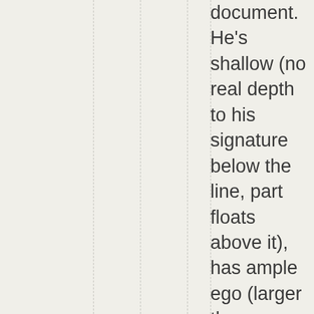document. He's shallow (no real depth to his signature below the line, part floats above it), has ample ego (larger than average letters, signature